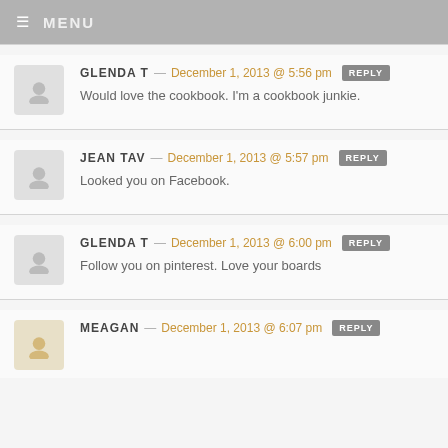≡ MENU
GLENDA T — December 1, 2013 @ 5:56 pm REPLY
Would love the cookbook. I'm a cookbook junkie.
JEAN TAV — December 1, 2013 @ 5:57 pm REPLY
Looked you on Facebook.
GLENDA T — December 1, 2013 @ 6:00 pm REPLY
Follow you on pinterest. Love your boards
MEAGAN — December 1, 2013 @ 6:07 pm REPLY